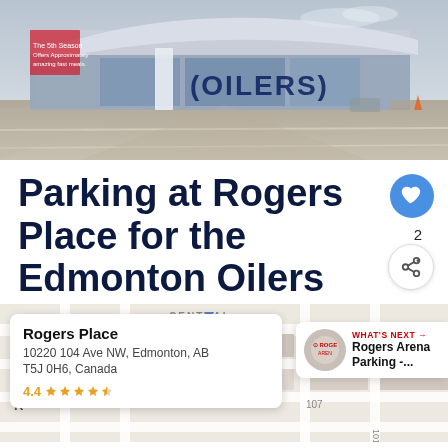[Figure (photo): Exterior photo of Rogers Place arena in Edmonton, showing modern curved glass and steel architecture with Oilers signage]
Parking at Rogers Place for the Edmonton Oilers
[Figure (map): Google Maps snippet showing Rogers Place location at 10220 104 Ave NW, Edmonton, AB T5J 0H6, Canada, rated 4.4 stars. A What's Next panel shows Rogers Arena Parking.]